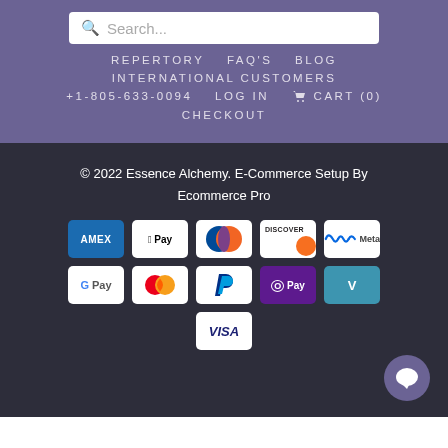Search... REPERTORY  FAQ'S  BLOG  INTERNATIONAL CUSTOMERS  +1-805-633-0094  LOG IN  CART (0)  CHECKOUT
© 2022 Essence Alchemy. E-Commerce Setup By Ecommerce Pro
[Figure (infographic): Payment method logos in two rows: AMEX, Apple Pay, Diners Club, Discover, Meta; G Pay, Mastercard, PayPal, OPay, Venmo; then VISA. A chat bubble in bottom right corner.]